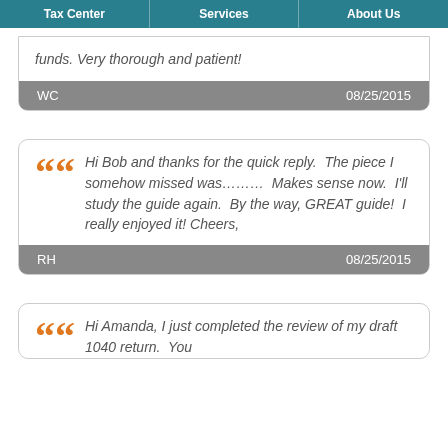Tax Center | Services | About Us
funds. Very thorough and patient!
WC    08/25/2015
Hi Bob and thanks for the quick reply. The piece I somehow missed was........ Makes sense now. I'll study the guide again. By the way, GREAT guide! I really enjoyed it! Cheers,
RH    08/25/2015
Hi Amanda, I just completed the review of my draft 1040 return. You